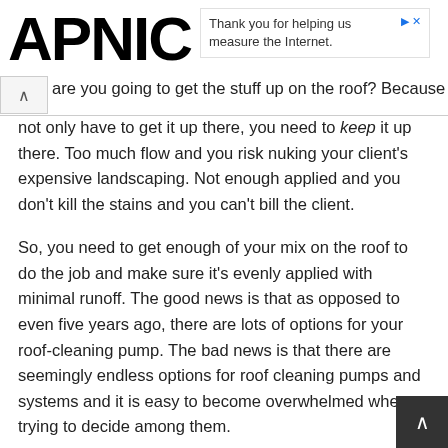APNIC — Thank you for helping us measure the Internet.
are you going to get the stuff up on the roof? Because you not only have to get it up there, you need to keep it up there. Too much flow and you risk nuking your client's expensive landscaping. Not enough applied and you don't kill the stains and you can't bill the client.
So, you need to get enough of your mix on the roof to do the job and make sure it's evenly applied with minimal runoff. The good news is that as opposed to even five years ago, there are lots of options for your roof-cleaning pump. The bad news is that there are seemingly endless options for roof cleaning pumps and systems and it is easy to become overwhelmed when trying to decide among them.
What do you need to look for? Which type of pump or system is right for you?
Most guys who have been cleaning roofs for more than the la…